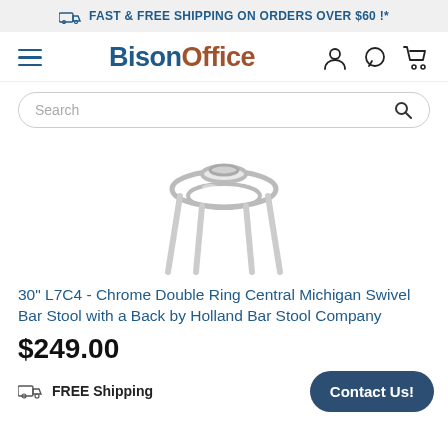FAST & FREE SHIPPING ON ORDERS OVER $60 !*
[Figure (logo): BisonOffice logo with hamburger menu icon and user, chat, cart icons]
[Figure (screenshot): Search bar with magnifying glass icon]
[Figure (photo): Chrome double ring bar stool base - bottom view showing chrome legs and ring footrest]
30" L7C4 - Chrome Double Ring Central Michigan Swivel Bar Stool with a Back by Holland Bar Stool Company
$249.00
FREE Shipping